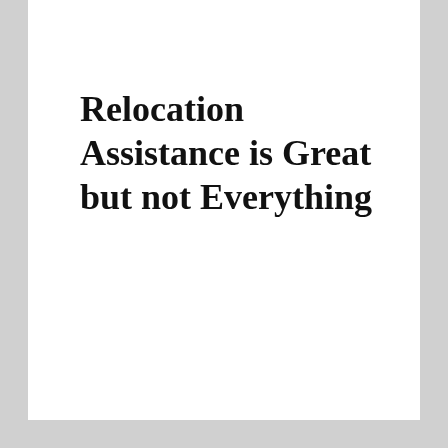Relocation Assistance is Great but not Everything